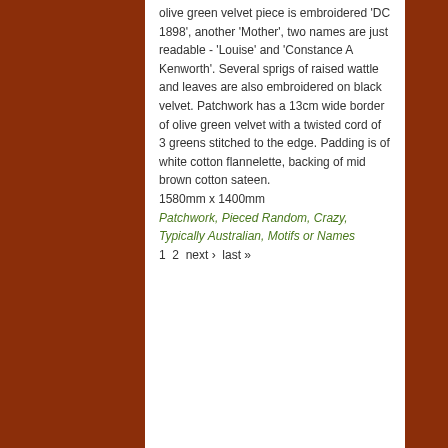olive green velvet piece is embroidered 'DC 1898', another 'Mother', two names are just readable - 'Louise' and 'Constance A Kenworth'. Several sprigs of raised wattle and leaves are also embroidered on black velvet. Patchwork has a 13cm wide border of olive green velvet with a twisted cord of 3 greens stitched to the edge. Padding is of white cotton flannelette, backing of mid brown cotton sateen.
1580mm x 1400mm
Patchwork, Pieced Random, Crazy, Typically Australian, Motifs or Names
1  2  next ›  last »